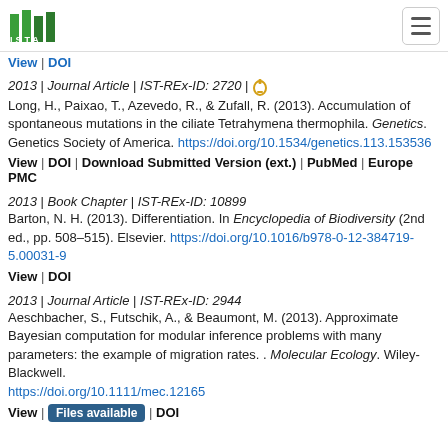ISTA
View | DOI
2013 | Journal Article | IST-REx-ID: 2720 | [open access icon]
Long, H., Paixao, T., Azevedo, R., & Zufall, R. (2013). Accumulation of spontaneous mutations in the ciliate Tetrahymena thermophila. Genetics. Genetics Society of America. https://doi.org/10.1534/genetics.113.153536
View | DOI | Download Submitted Version (ext.) | PubMed | Europe PMC
2013 | Book Chapter | IST-REx-ID: 10899
Barton, N. H. (2013). Differentiation. In Encyclopedia of Biodiversity (2nd ed., pp. 508–515). Elsevier. https://doi.org/10.1016/b978-0-12-384719-5.00031-9
View | DOI
2013 | Journal Article | IST-REx-ID: 2944
Aeschbacher, S., Futschik, A., & Beaumont, M. (2013). Approximate Bayesian computation for modular inference problems with many parameters: the example of migration rates. . Molecular Ecology. Wiley-Blackwell. https://doi.org/10.1111/mec.12165
View | Files available | DOI